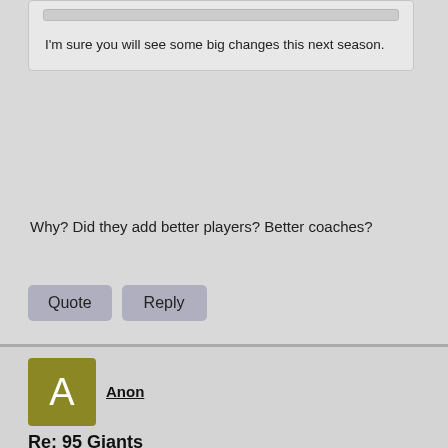I'm sure you will see some big changes this next season.
Why? Did they add better players? Better coaches?
Quote
Reply
Anon
Re: 95 Giants
ANON
Anon